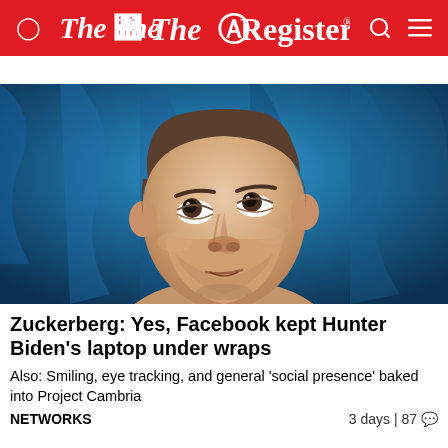The Register
[Figure (photo): Close-up photo of Mark Zuckerberg looking upward against a blue background, wearing a dark shirt.]
Zuckerberg: Yes, Facebook kept Hunter Biden's laptop under wraps
Also: Smiling, eye tracking, and general 'social presence' baked into Project Cambria
NETWORKS	3 days | 87